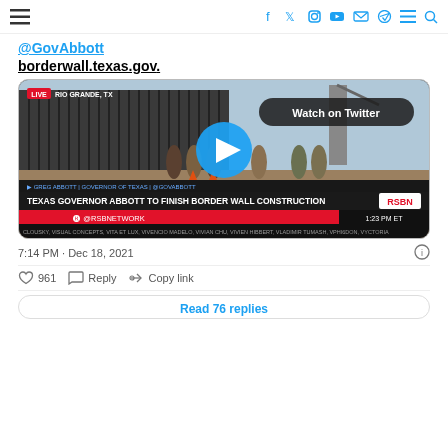Navigation header with hamburger menu and social icons (Facebook, Twitter, Instagram, YouTube, Email, Telegram, Menu, Search)
@GovAbbott
borderwall.texas.gov.
[Figure (screenshot): Embedded Twitter/RSBN video showing Texas Governor Abbott at border wall construction site, with LIVE chyron 'RIO GRANDE, TX', headline 'TEXAS GOVERNOR ABBOTT TO FINISH BORDER WALL CONSTRUCTION', RSBN logo, '@RSBNETWORK', timestamp '1:23 PM ET', and a blue play button overlay with 'Watch on Twitter' badge.]
7:14 PM · Dec 18, 2021
♡ 961   Reply   Copy link
Read 76 replies